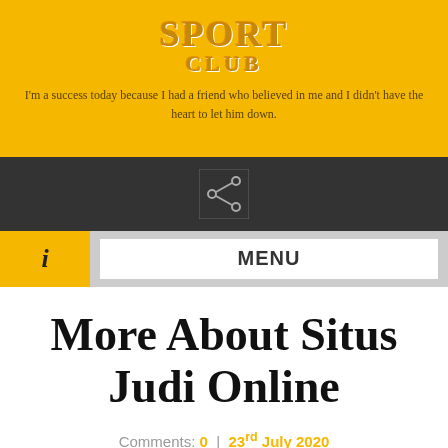SPORT CLUB
I'm a success today because I had a friend who believed in me and I didn't have the heart to let him down.
[Figure (screenshot): Dark navigation bar with a share icon button (arrow branching into three nodes) in a bordered box]
[Figure (screenshot): Menu bar with yellow info icon box on left showing italic 'i', and white MENU button on right]
More About Situs Judi Online
Comments: 0 | 23 rd July 2020